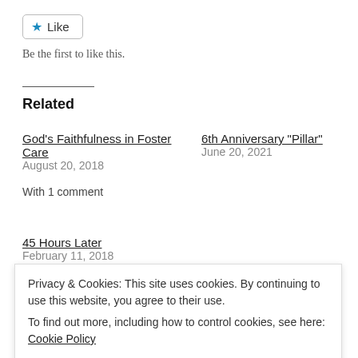[Figure (other): Like button with blue star icon and border]
Be the first to like this.
Related
God’s Faithfulness in Foster Care
August 20, 2018
With 1 comment
6th Anniversary “Pillar”
June 20, 2021
45 Hours Later
February 11, 2018
Privacy & Cookies: This site uses cookies. By continuing to use this website, you agree to their use.
To find out more, including how to control cookies, see here: Cookie Policy